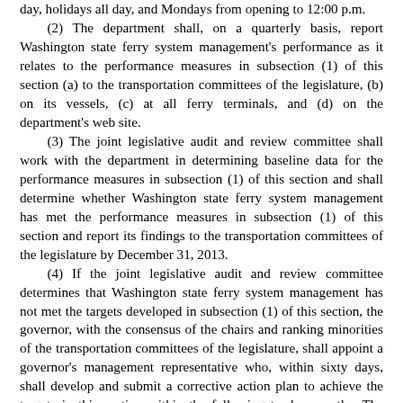day, holidays all day, and Mondays from opening to 12:00 p.m.
(2) The department shall, on a quarterly basis, report Washington state ferry system management's performance as it relates to the performance measures in subsection (1) of this section (a) to the transportation committees of the legislature, (b) on its vessels, (c) at all ferry terminals, and (d) on the department's web site.
(3) The joint legislative audit and review committee shall work with the department in determining baseline data for the performance measures in subsection (1) of this section and shall determine whether Washington state ferry system management has met the performance measures in subsection (1) of this section and report its findings to the transportation committees of the legislature by December 31, 2013.
(4) If the joint legislative audit and review committee determines that Washington state ferry system management has not met the targets developed in subsection (1) of this section, the governor, with the consensus of the chairs and ranking minorities of the transportation committees of the legislature, shall appoint a governor's management representative who, within sixty days, shall develop and submit a corrective action plan to achieve the targets in this section within the following twelve months. The plan must be submitted to the governor and the transportation committees of the legislature.
NEW SECTION.  Sec. 7.  A new section is added to chapter 47.64